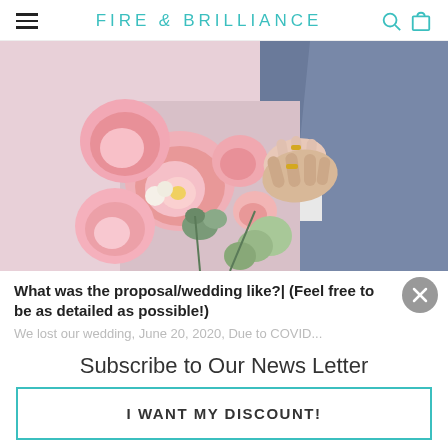FIRE & BRILLIANCE
[Figure (photo): Wedding photo showing a pink floral bouquet with succulents and greenery, with a couple in the background — a man's hand with a gold wedding ring resting on a woman's hand, man wearing a blue suit jacket]
What was the proposal/wedding like?| (Feel free to be as detailed as possible!)
We lost our wedding, June 20, 2020, Due to COVID...
Subscribe to Our News Letter
I WANT MY DISCOUNT!